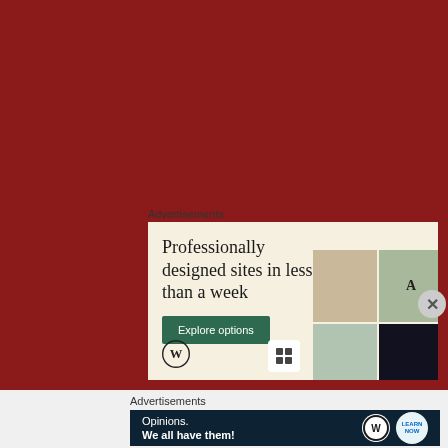Advertisements
[Figure (illustration): WordPress advertisement: 'Professionally designed sites in less than a week' with Explore options button, WordPress logo, and mock website screenshots on cream background]
Advertisements
[Figure (illustration): WordPress advertisement on dark navy background: 'Opinions. We all have them!' with WordPress and educational institution logos]